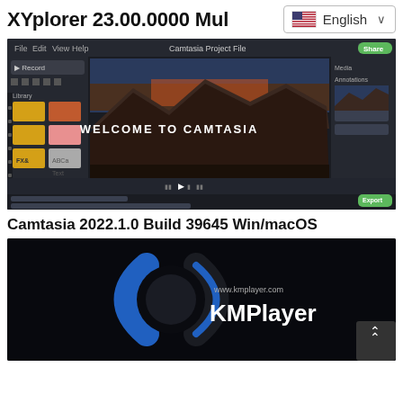XYplorer 23.00.0000 Mul…
[Figure (screenshot): Camtasia 2022 video editor screenshot showing the editing interface with a mountain landscape preview and 'WELCOME TO CAMTASIA' text overlay]
Camtasia 2022.1.0 Build 39645 Win/macOS
[Figure (screenshot): KMPlayer logo screenshot on dark background showing KMPlayer branding with www.kmplayer.com URL]